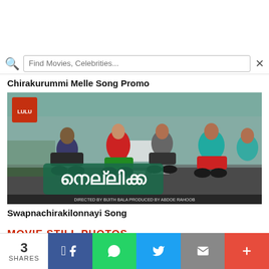Find Movies, Celebrities...
Chirakurummi Melle Song Promo
[Figure (photo): Movie promotional image for 'Nellikka' Malayalam film showing group of people riding motorcycles on a street with Malayalam title text overlay. Credits: Directed by Bijith Bala, Produced by Abdoe Rahoob]
Swapnachirakilonnayi Song
MOVIE STILL PHOTOS
3 SHARES